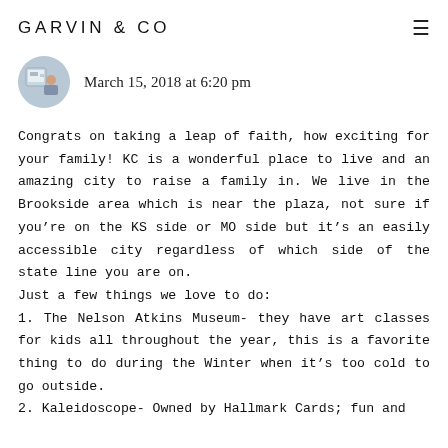GARVIN & CO
March 15, 2018 at 6:20 pm
Congrats on taking a leap of faith, how exciting for your family! KC is a wonderful place to live and an amazing city to raise a family in. We live in the Brookside area which is near the plaza, not sure if you’re on the KS side or MO side but it’s an easily accessible city regardless of which side of the state line you are on.
Just a few things we love to do:
1. The Nelson Atkins Museum- they have art classes for kids all throughout the year, this is a favorite thing to do during the Winter when it’s too cold to go outside.
2. Kaleidoscope- Owned by Hallmark Cards; fun and